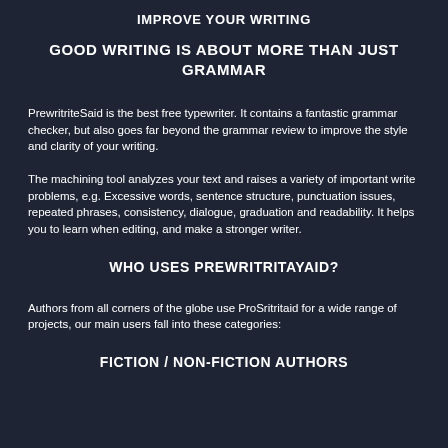IMPROVE YOUR WRITING
GOOD WRITING IS ABOUT MORE THAN JUST GRAMMAR
PrewritriteSaid is the best free typewriter. It contains a fantastic grammar checker, but also goes far beyond the grammar review to improve the style and clarity of your writing.
The machining tool analyzes your text and raises a variety of important write problems, e.g. Excessive words, sentence structure, punctuation issues, repeated phrases, consistency, dialogue, graduation and readability. It helps you to learn when editing, and make a stronger writer.
WHO USES PREWRITRITAYAID?
Authors from all corners of the globe use ProSritritaid for a wide range of projects, our main users fall into these categories:
FICTION / NON-FICTION AUTHORS